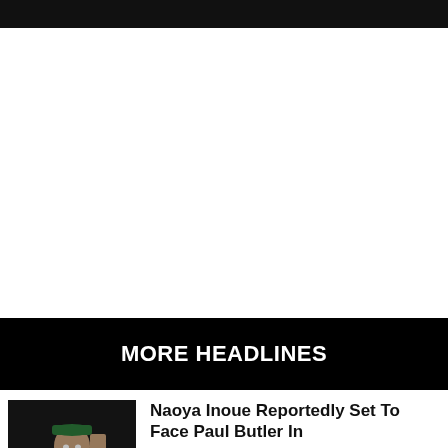MORE HEADLINES
[Figure (photo): Boxer wearing green cap raising fist, photographed against dark background]
Naoya Inoue Reportedly Set To Face Paul Butler In